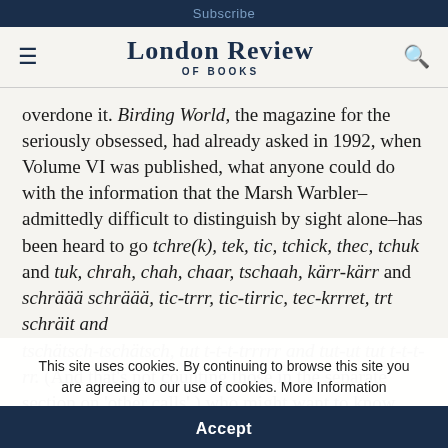Subscribe
London Review OF BOOKS
overdone it. Birding World, the magazine for the seriously obsessed, had already asked in 1992, when Volume VI was published, what anyone could do with the information that the Marsh Warbler–admittedly difficult to distinguish by sight alone–has been heard to go tchre(k), tek, tic, tchick, thec, tchuk and tuk, chrah, chah, chaar, tschaah, kärr-kärr and schräää schräää, tic-trrr, tic-tirric, tec-krrret, trt schräit and tschätsch-tschätsch, tut t-t-t-trrrrr and tut-ut tut t-t-t-rr. (And that's not counting those in the separate section on 'other calls'.) who might want to know such things, and why?
This site uses cookies. By continuing to browse this site you are agreeing to our use of cookies. More Information
Accept
This is a moderately deep question, and the